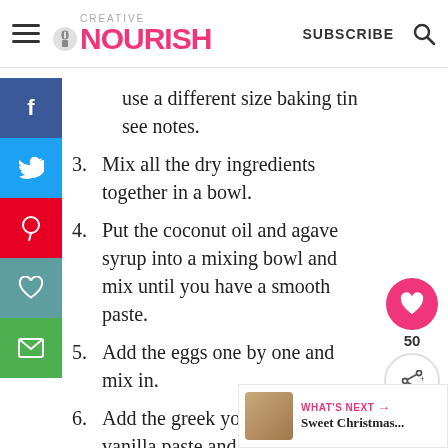CREATIVE NOURISH | SUBSCRIBE
use a different size baking tin see notes.
3. Mix all the dry ingredients together in a bowl.
4. Put the coconut oil and agave syrup into a mixing bowl and mix until you have a smooth paste.
5. Add the eggs one by one and mix in.
6. Add the greek yogurt and vanilla paste and mix.
7. Add the milk and mix in.
8. Fold in or gently mix for about 10